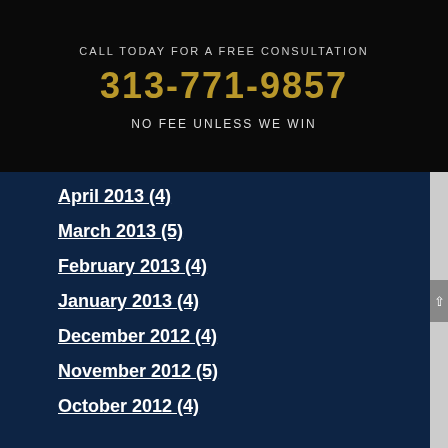CALL TODAY FOR A FREE CONSULTATION
313-771-9857
NO FEE UNLESS WE WIN
April 2013 (4)
March 2013 (5)
February 2013 (4)
January 2013 (4)
December 2012 (4)
November 2012 (5)
October 2012 (4)